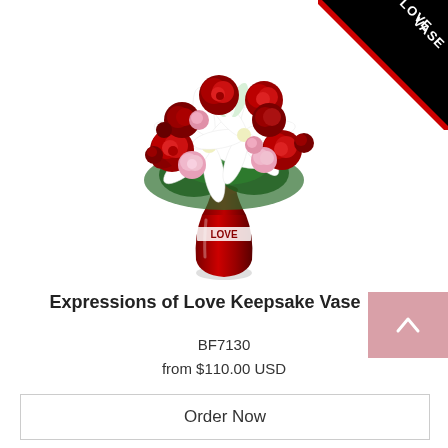[Figure (photo): Bouquet of red roses, white lilies, and pink carnations in a red 'LOVE' keepsake vase on a white background, with a black diagonal 'LOVE VASE' banner in the top-right corner.]
Expressions of Love Keepsake Vase
BF7130
from $110.00 USD
Order Now